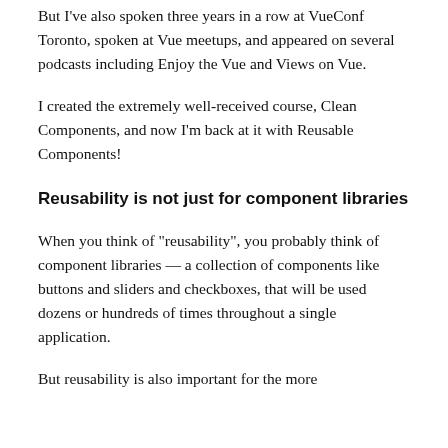But I've also spoken three years in a row at VueConf Toronto, spoken at Vue meetups, and appeared on several podcasts including Enjoy the Vue and Views on Vue.
I created the extremely well-received course, Clean Components, and now I'm back at it with Reusable Components!
Reusability is not just for component libraries
When you think of "reusability", you probably think of component libraries — a collection of components like buttons and sliders and checkboxes, that will be used dozens or hundreds of times throughout a single application.
But reusability is also important for the more